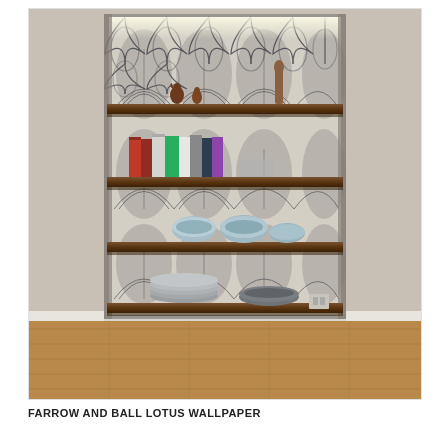[Figure (photo): A built-in bookshelf unit set into an alcove, with Farrow and Ball Lotus wallpaper covering the back panel. The wallpaper features a dark grey/charcoal art nouveau lotus pattern on a beige/cream background. The shelves are made of dark walnut-stained wood. The top shelf has decorative wooden bird figurines. The second shelf holds a row of books (colorful spines including red, green, white). The third shelf has blue and white ceramic bowls. The fourth shelf has stacked grey plates and a grey bowl. The bottom shelf area is empty. The floor is warm oak-toned hardwood. The surrounding walls are painted a warm off-white/greige. There is a light source at the top of the bookcase illuminating the area.]
FARROW AND BALL LOTUS WALLPAPER